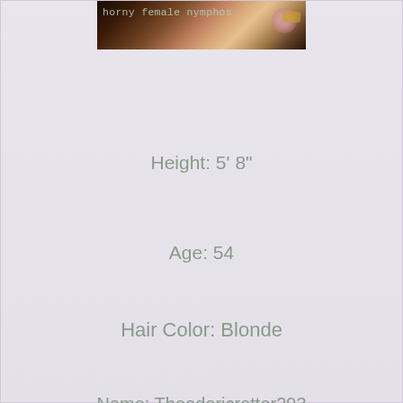[Figure (photo): Partial photo strip at top showing blurred image with overlay text 'horny female nymphos']
Height: 5' 8"
Age: 54
Hair Color: Blonde
Name: Theodoricretter293
Body: Heavyset
Status: Divorced